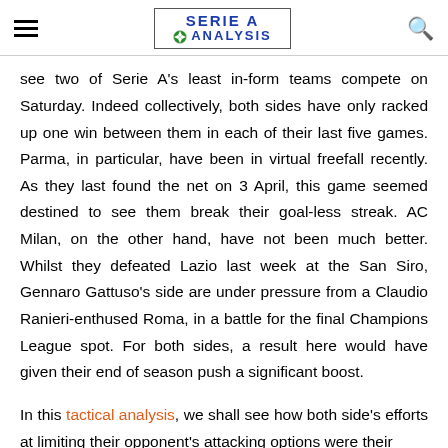SERIE A ANALYSIS
see two of Serie A's least in-form teams compete on Saturday. Indeed collectively, both sides have only racked up one win between them in each of their last five games. Parma, in particular, have been in virtual freefall recently. As they last found the net on 3 April, this game seemed destined to see them break their goal-less streak. AC Milan, on the other hand, have not been much better. Whilst they defeated Lazio last week at the San Siro, Gennaro Gattuso's side are under pressure from a Claudio Ranieri-enthused Roma, in a battle for the final Champions League spot. For both sides, a result here would have given their end of season push a significant boost.
In this tactical analysis, we shall see how both side's efforts at limiting their opponent's attacking options were their